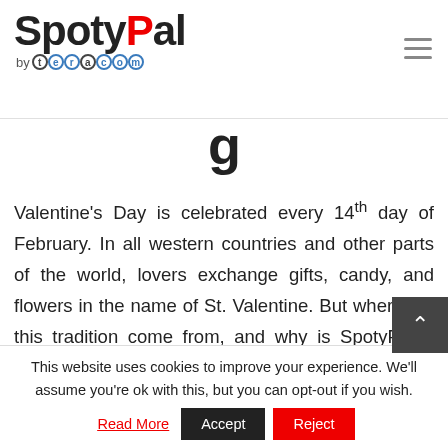SpotyPal by teracom
Valentine's Day is celebrated every 14th day of February. In all western countries and other parts of the world, lovers exchange gifts, candy, and flowers in the name of St. Valentine. But where did this tradition come from, and why is SpotyPal a great gift to give your loved one this Valentine's Day?
This website uses cookies to improve your experience. We'll assume you're ok with this, but you can opt-out if you wish. Read More Accept Reject